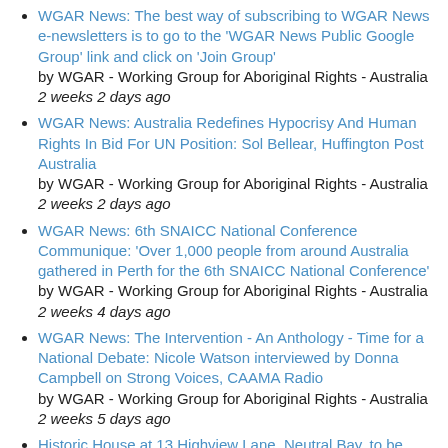WGAR News: The best way of subscribing to WGAR News e-newsletters is to go to the 'WGAR News Public Google Group' link and click on 'Join Group'
by WGAR - Working Group for Aboriginal Rights - Australia
2 weeks 2 days ago
WGAR News: Australia Redefines Hypocrisy And Human Rights In Bid For UN Position: Sol Bellear, Huffington Post Australia
by WGAR - Working Group for Aboriginal Rights - Australia
2 weeks 2 days ago
WGAR News: 6th SNAICC National Conference Communique: 'Over 1,000 people from around Australia gathered in Perth for the 6th SNAICC National Conference'
by WGAR - Working Group for Aboriginal Rights - Australia
2 weeks 4 days ago
WGAR News: The Intervention - An Anthology - Time for a National Debate: Nicole Watson interviewed by Donna Campbell on Strong Voices, CAAMA Radio
by WGAR - Working Group for Aboriginal Rights - Australia
2 weeks 5 days ago
Historic House at 13 Highview Lane, Neutral Bay, to be demolished in October 2015
by Mulligrubs